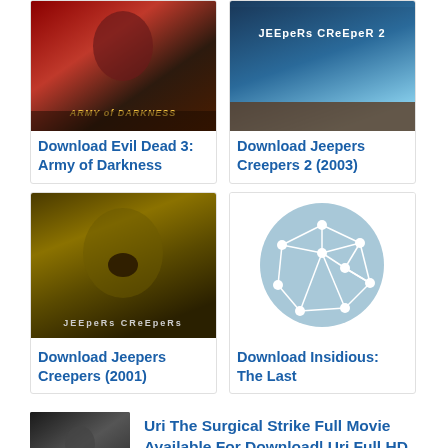[Figure (photo): Movie poster for Evil Dead 3: Army of Darkness]
Download Evil Dead 3: Army of Darkness
[Figure (photo): Movie poster for Jeepers Creepers 2 (2003)]
Download Jeepers Creepers 2 (2003)
[Figure (photo): Movie poster for Jeepers Creepers (2001)]
Download Jeepers Creepers (2001)
[Figure (illustration): Network graph icon on light blue circular background]
Download Insidious: The Last
[Figure (photo): Movie thumbnail for Uri The Surgical Strike]
Uri The Surgical Strike Full Movie Available For Download| Uri Full HD 720p